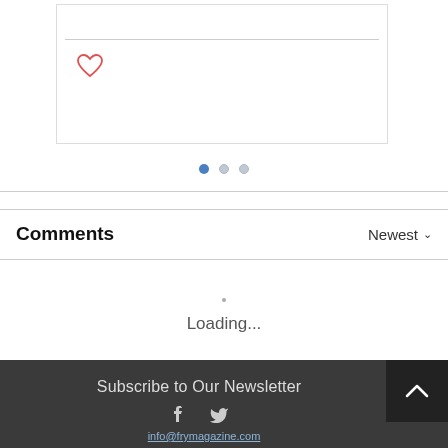[Figure (screenshot): Card UI section with a horizontal divider and a heart (like) icon in the top-left corner]
[Figure (other): Pagination dots: one filled blue dot followed by two grey dots]
Comments
Newest ˅
Loading...
[Figure (screenshot): Dark footer with back-to-top chevron button, Subscribe to Our Newsletter text, social icons (Facebook, Twitter), and email link info@frymagazine.com]
Subscribe to Our Newsletter
info@frymagazine.com
Fry Magazine Limited